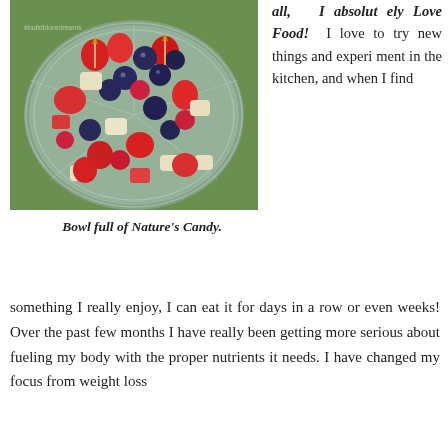[Figure (photo): A glass bowl filled with mixed fresh fruit including strawberries, blueberries, raspberries, and chopped apple/pear pieces, photographed outdoors on grass]
Bowl full of Nature's Candy.
all, I absolutely Love Food! I love to try new things and experiment in the kitchen, and when I find something I really enjoy, I can eat it for days in a row or even weeks! Over the past few months I have really been getting more serious about fueling my body with the proper nutrients it needs. I have changed my focus from weight loss
something I really enjoy, I can eat it for days in a row or even weeks! Over the past few months I have really been getting more serious about fueling my body with the proper nutrients it needs. I have changed my focus from weight loss